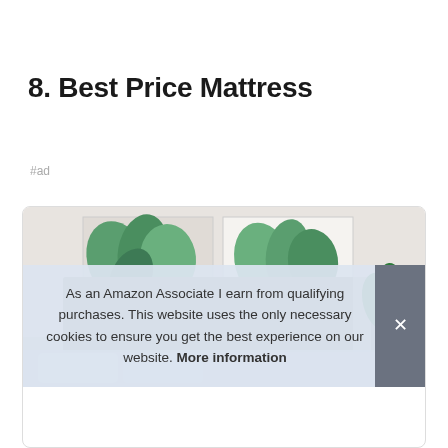8. Best Price Mattress
#ad
[Figure (photo): Product photo of a bed with a gray upholstered headboard in a bedroom setting with tropical leaf artwork on the wall and a green plant]
As an Amazon Associate I earn from qualifying purchases. This website uses the only necessary cookies to ensure you get the best experience on our website. More information